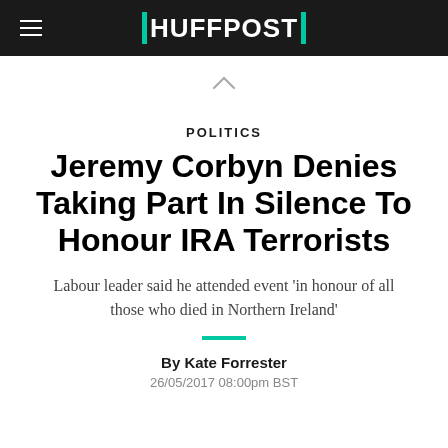HUFFPOST
POLITICS
Jeremy Corbyn Denies Taking Part In Silence To Honour IRA Terrorists
Labour leader said he attended event 'in honour of all those who died in Northern Ireland'
By Kate Forrester
26/05/2017 08:00pm BST